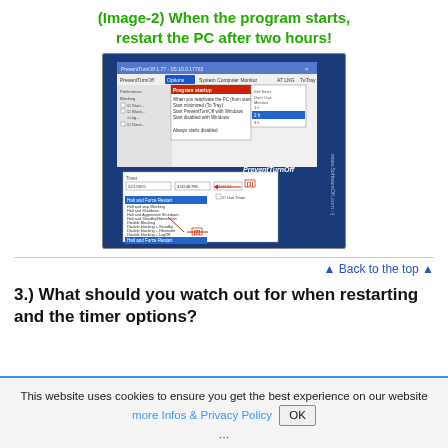(Image-2) When the program starts, restart the PC after two hours!
[Figure (screenshot): Screenshot of PreventTurnOff 1.77 application showing Options > Program startup menu selected, and a dropdown list with 'Halt and Force Restart' selected, annotated with [1] and [2] labels and red arrows.]
▲ Back to the top ▲
3.) What should you watch out for when restarting and the timer options?
This website uses cookies to ensure you get the best experience on our website more Infos & Privacy Policy OK